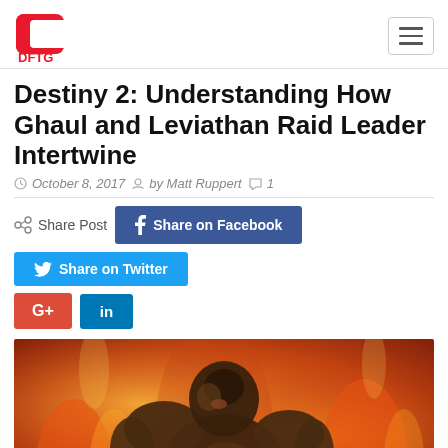DFTG
Destiny 2: Understanding How Ghaul and Leviathan Raid Leader Intertwine
October 8, 2017  by Matt Ruppert  1
Share Post  Share on Facebook  Share on Twitter  G+  in
[Figure (photo): Armored warrior character from Destiny 2 video game against a fiery orange background]